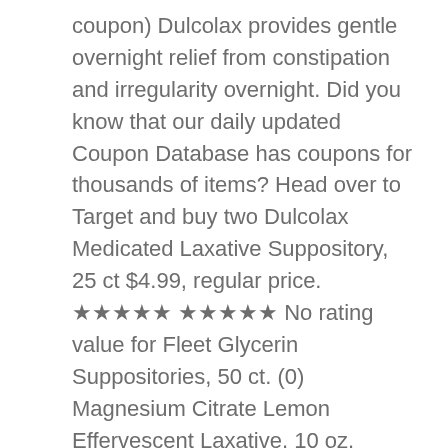coupon) Dulcolax provides gentle overnight relief from constipation and irregularity overnight. Did you know that our daily updated Coupon Database has coupons for thousands of items? Head over to Target and buy two Dulcolax Medicated Laxative Suppository, 25 ct $4.99, regular price. ★★★★★ ★★★★★ No rating value for Fleet Glycerin Suppositories, 50 ct. (0) Magnesium Citrate Lemon Effervescent Laxative, 10 oz. Posted on December 17th, 2018 by I Print Coupons Post contains sponsored/affiliate links and I get commissions for purchases made from links. Shop online for bulk Dollar Tree products, perfect for restaurants, businesses, schools, churches, party planners & anyone looking for quality supplies in bulk. Bottles (24 units), Stock up and save at dollartree.com. Cut back on costs by shopping Dollar tree for your oral care needs — we have your favorite brand-name